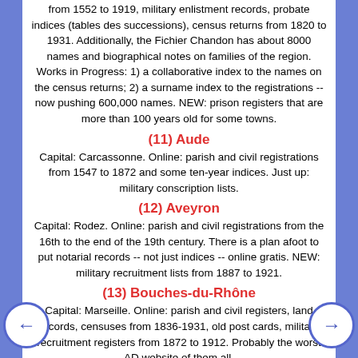from 1552 to 1919, military enlistment records, probate indices (tables des successions), census returns from 1820 to 1931. Additionally, the Fichier Chandon has about 8000 names and biographical notes on families of the region. Works in Progress: 1) a collaborative index to the names on the census returns; 2) a surname index to the registrations -- now pushing 600,000 names. NEW: prison registers that are more than 100 years old for some towns.
(11) Aude
Capital: Carcassonne. Online: parish and civil registrations from 1547 to 1872 and some ten-year indices. Just up: military conscription lists.
(12) Aveyron
Capital: Rodez. Online: parish and civil registrations from the 16th to the end of the 19th century. There is a plan afoot to put notarial records -- not just indices -- online gratis. NEW: military recruitment lists from 1887 to 1921.
(13) Bouches-du-Rhône
Capital: Marseille. Online: parish and civil registers, land records, censuses from 1836-1931, old post cards, military recruitment registers from 1872 to 1912. Probably the worst AD website of them all.